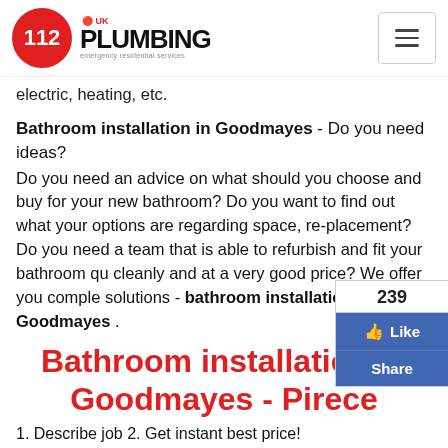112 UK PLUMBING emergency residential services
electric, heating, etc.
Bathroom installation in Goodmayes - Do you need ideas?
Do you need an advice on what should you choose and buy for your new bathroom? Do you want to find out what your options are regarding space, re-placement? Do you need a team that is able to refurbish and fit your bathroom quickly, cleanly and at a very good price? We offer you complete solutions - bathroom installation in Goodmayes .
[Figure (infographic): Facebook like/share widget showing 239 likes, with Like and Share buttons in Facebook blue]
Bathroom installation in Goodmayes - Pirece
1. Describe job 2. Get instant best price!
We offer you high quality, attention to details, great finishes, on time and on budget for a very reasonable price.